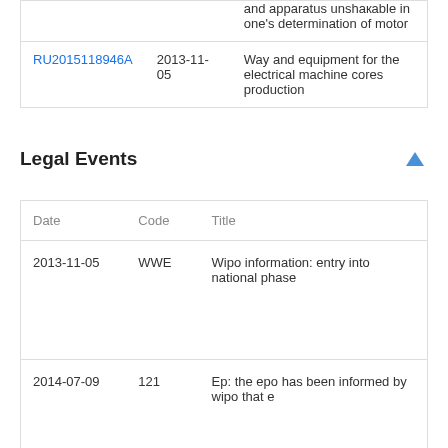|  | Date | Title |
| --- | --- | --- |
|  |  | and apparatus unshaкable in one's determination of motor |
| RU2015118946A | 2013-11-05 | Way and equipment for the electrical machine cores production |
Legal Events
| Date | Code | Title |
| --- | --- | --- |
| 2013-11-05 | WWE | Wipo information: entry into national phase |
| 2014-07-09 | 121 | Ep: the epo has been informed by wipo that e |